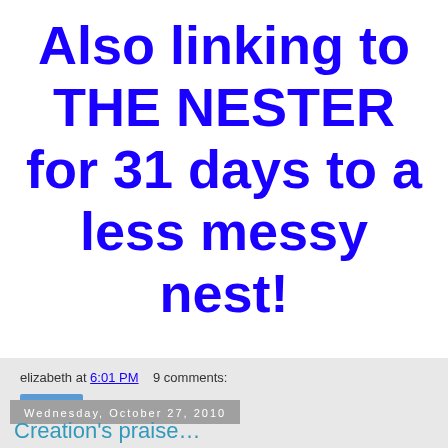Also linking to THE NESTER for 31 days to a less messy nest!
elizabeth at 6:01 PM   9 comments:
Share
Wednesday, October 27, 2010
Creation's praise…